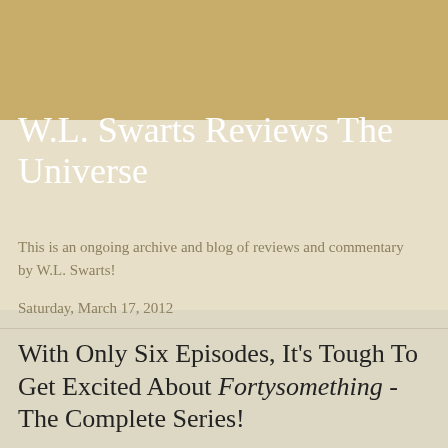W.L. Swarts Reviews The Universe
This is an ongoing archive and blog of reviews and commentary by W.L. Swarts!
Saturday, March 17, 2012
With Only Six Episodes, It's Tough To Get Excited About Fortysomething - The Complete Series!